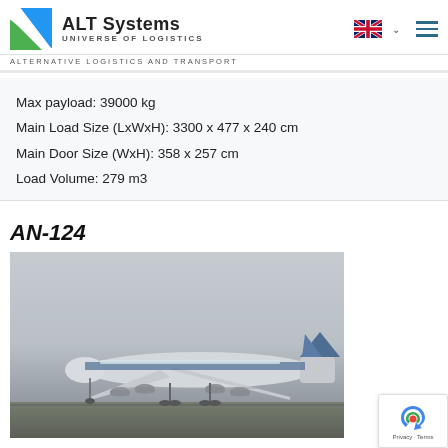ALT Systems UNIVERSE OF LOGISTICS ALTERNATIVE LOGISTICS AND TRANSPORT
Max payload: 39000 kg
Main Load Size (LxWxH): 3300 x 477 x 240 cm
Main Door Size (WxH): 358 x 257 cm
Load Volume: 279 m3
AN-124
[Figure (photo): AN-124 large cargo aircraft on a runway, white and blue livery, four turbofan engines, photographed in overcast conditions]